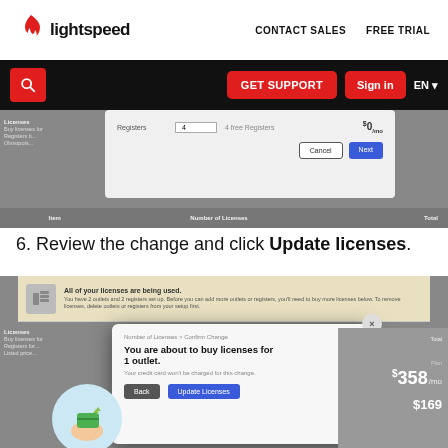[Figure (screenshot): Lightspeed website header with logo, CONTACT SALES and FREE TRIAL navigation links on white bar, and black navigation bar with search button, GET SUPPORT button, Sign in button, EN language selector]
[Figure (screenshot): Lightspeed admin UI screenshot showing a modal dialog with Registers input field set to 4, Aloha/Register label, $0/mo price, Cancel and Next buttons, and a table row with Item, Number of Licenses, Total columns]
6. Review the change and click Update licenses.
[Figure (screenshot): Lightspeed admin UI screenshot showing a warning banner 'All of your licenses are being used.' with descriptive text, and a modal dialog with breadcrumb 'Number of Licenses > Confirm Change', heading 'You are about to buy licenses for 1 outlet.', subtext 'Your credit card won't be charged for this change.', Back and Update Licenses buttons, an illustration of a hand holding a card, and a price of $358/mo]